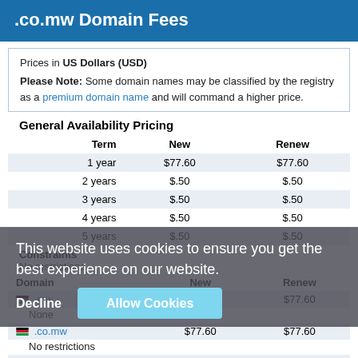.co.mw Domain Fees
Prices in US Dollars (USD)
Please Note: Some domain names may be classified by the registry as a premium domain name and will command a higher price.
General Availability Pricing
| Term | New | Renew |
| --- | --- | --- |
| 1 year | $77.60 | $77.60 |
| 2 years | $.50 | $.50 |
| 3 years | $.50 | $.50 |
| 4 years | $.50 | $.50 |
| 5 years | $.50 | $.50 |
Constraints
No restrictions
| Domain | New | Renew |
| --- | --- | --- |
| .mw | $77.60 | $77.60 |
| None |  |  |
| .co.mw | $77.60 | $77.60 |
| No restrictions |  |  |
| .net.mw | $77.60 | $77.60 |
| None |  |  |
This website uses cookies to ensure you get the best experience on our website.
Decline   Allow Cookies